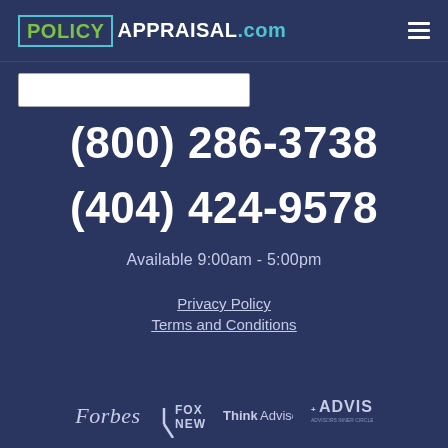[Figure (logo): PolicyAppraisal.com logo with POLICY in green inside a teal-bordered box, APPRAISAL in white, .com in teal]
(800) 286-3738
(404) 424-9578
Available 9:00am - 5:00pm
Privacy Policy
Terms and Conditions
[Figure (logo): Media logos: Forbes, Fox News, ThinkAdvisor, Advisor logos in light color on dark blue background]